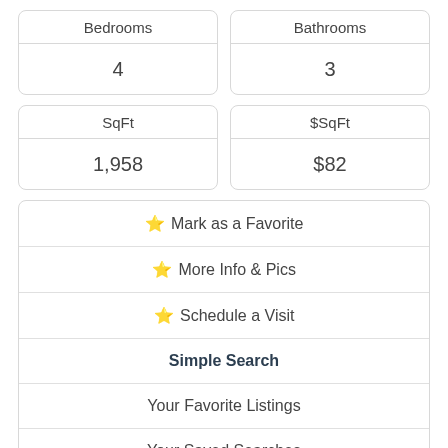| Bedrooms | Bathrooms |
| --- | --- |
| 4 | 3 |
| SqFt | $SqFt |
| --- | --- |
| 1,958 | $82 |
⭐ Mark as a Favorite
⭐ More Info & Pics
⭐ Schedule a Visit
Simple Search
Your Favorite Listings
Your Saved Searches